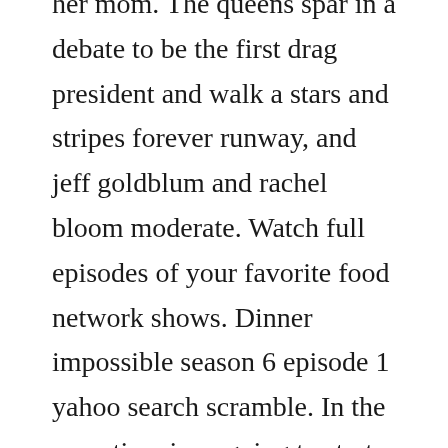her mom. The queens spar in a debate to be the first drag president and walk a stars and stripes forever runway, and jeff goldblum and rachel bloom moderate. Watch full episodes of your favorite food network shows. Dinner impossible season 6 episode 1 yahoo search scramble. In the meantime i am going to start something new in this blog. Mar 24, 2010 dinner impossible season 8 episode 1 destroyer disaster. Rick astley tells us how his daughter helped him cope with becoming a meme, anthony bourdain talks about the